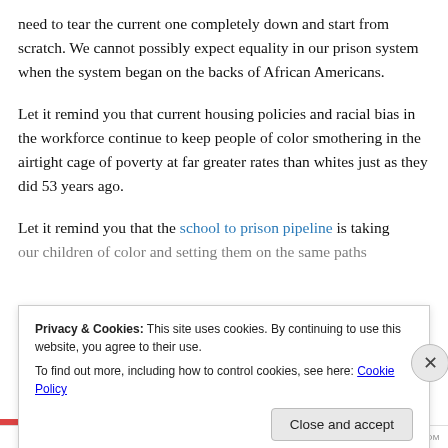need to tear the current one completely down and start from scratch. We cannot possibly expect equality in our prison system when the system began on the backs of African Americans.
Let it remind you that current housing policies and racial bias in the workforce continue to keep people of color smothering in the airtight cage of poverty at far greater rates than whites just as they did 53 years ago.
Let it remind you that the school to prison pipeline is taking our children of color and setting them on the same paths
Privacy & Cookies: This site uses cookies. By continuing to use this website, you agree to their use. To find out more, including how to control cookies, see here: Cookie Policy
Close and accept